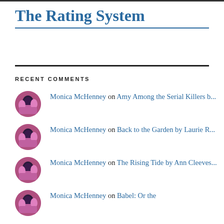The Rating System
RECENT COMMENTS
Monica McHenney on Amy Among the Serial Killers b...
Monica McHenney on Back to the Garden by Laurie R...
Monica McHenney on The Rising Tide by Ann Cleeves...
Monica McHenney on Babel: Or the...